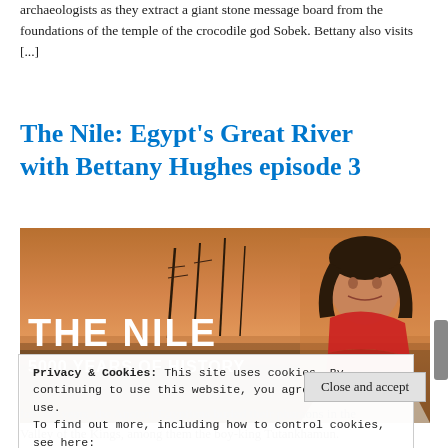archaeologists as they extract a giant stone message board from the foundations of the temple of the crocodile god Sobek. Bettany also visits [...]
The Nile: Egypt's Great River with Bettany Hughes episode 3
[Figure (photo): Banner image for 'The Nile: 5000 Years of History' documentary showing a woman with a red scarf against a sunset river backdrop with boats. Text overlay reads 'THE NILE 5000 YEARS OF HISTORY'.]
Privacy & Cookies: This site uses cookies. By continuing to use this website, you agree to their use.
To find out more, including how to control cookies, see here:
Cookie Policy
Close and accept
for 500 years, the Ancient Egyptians buried their pharaons in the Valley of the Kings, among them the boy-king Tutankhamun.